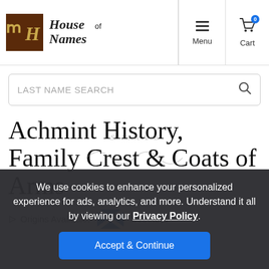House of Names — Menu | Cart
LAST NAME SEARCH
Achmint History, Family Crest & Coats of Arms
Origins Available: Scotland
We use cookies to enhance your personalized experience for ads, analytics, and more. Understand it all by viewing our Privacy Policy.
Accept & Continue